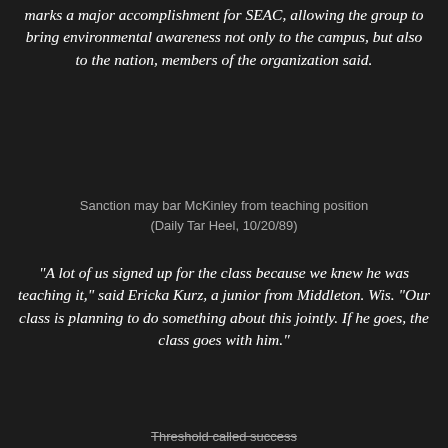marks a major accomplishment for SEAC, allowing the group to bring environmental awareness not only to the campus, but also to the nation, members of the organization said.
Sanction may bar McKinley from teaching position
(Daily Tar Heel, 10/20/89)
"A lot of us signed up for the class because we knew he was teaching it," said Ericka Kurz, a junior from Middleton. Wis. "Our class is planning to do something about this jointly. If he goes, the class goes with him."
Threshold called success